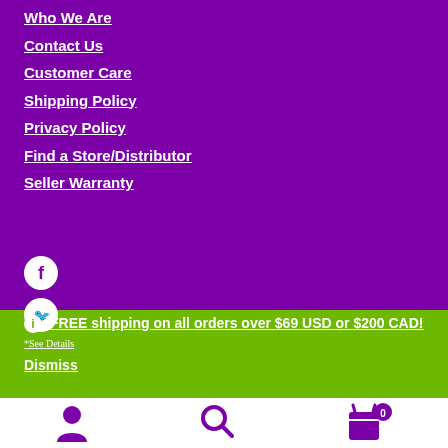Who We Are
Contact Us
Customer Care
Shipping Policy
Privacy Policy
Find a Store/Distributor
Seller Warranty
[Figure (logo): Facebook icon - white circle with F logo]
[Figure (logo): Twitter icon - white circle with bird logo]
FREE shipping on all orders over $69 USD or $200 CAD! *See Details
Dismiss
[Figure (infographic): Bottom navigation bar with person/account icon, search icon, and cart icon with 0 badge]